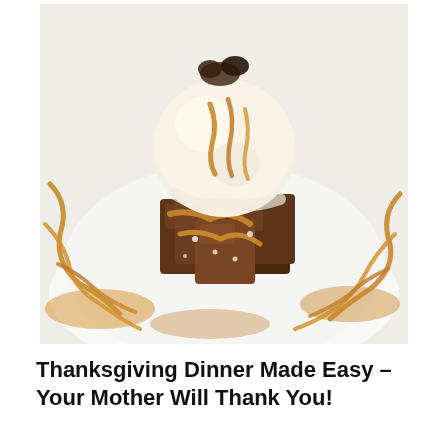[Figure (photo): Close-up photo of a dessert: chocolate brownie pieces topped with a scoop of vanilla ice cream and drizzled with caramel sauce, served on a white plate]
Thanksgiving Dinner Made Easy – Your Mother Will Thank You!